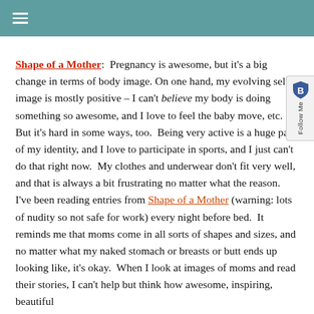≡
Shape of a Mother: Pregnancy is awesome, but it's a big change in terms of body image. On one hand, my evolving self-image is mostly positive – I can't believe my body is doing something so awesome, and I love to feel the baby move, etc. But it's hard in some ways, too. Being very active is a huge part of my identity, and I love to participate in sports, and I just can't do that right now. My clothes and underwear don't fit very well, and that is always a bit frustrating no matter what the reason. I've been reading entries from Shape of a Mother (warning: lots of nudity so not safe for work) every night before bed. It reminds me that moms come in all sorts of shapes and sizes, and no matter what my naked stomach or breasts or butt ends up looking like, it's okay. When I look at images of moms and read their stories, I can't help but think how awesome, inspiring, beautiful